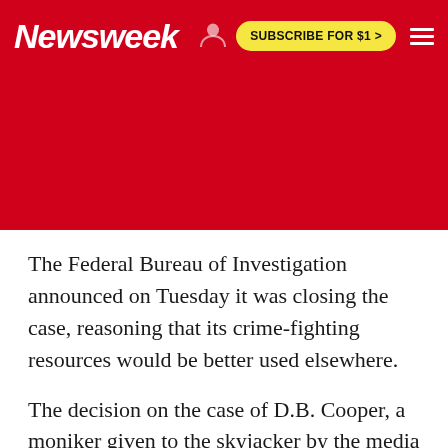Newsweek | SUBSCRIBE FOR $1 >
[Figure (other): Red background advertisement/placeholder area below the Newsweek header bar]
The Federal Bureau of Investigation announced on Tuesday it was closing the case, reasoning that its crime-fighting resources would be better used elsewhere.
The decision on the case of D.B. Cooper, a moniker given to the skyjacker by the media